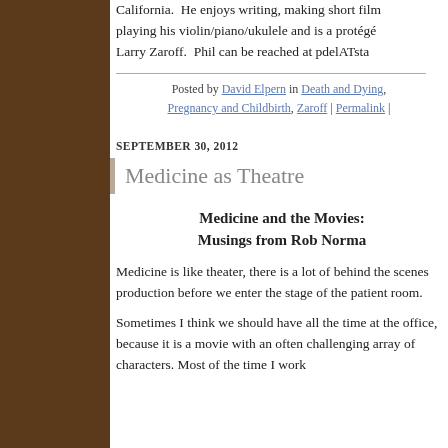California. He enjoys writing, making short film playing his violin/piano/ukulele and is a protégé Larry Zaroff. Phil can be reached at pdelATsta
Posted by David Elpern in Death and Dying, Pregnancy and Childbirth, Zaroff | Permalink |
SEPTEMBER 30, 2012
Medicine as Theatre
Medicine and the Movies: Musings from Rob Norma
Medicine is like theater, there is a lot of behind the scenes production before we enter the stage of the patient room.
Sometimes I think we should have all the time at the office, because it is a movie with an often challenging array of characters. Most of the time I work